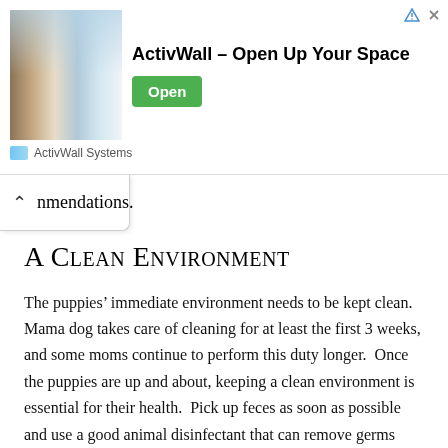[Figure (screenshot): Advertisement banner for ActivWall Systems showing an interior room photo on the left, bold text 'ActivWall – Open Up Your Space' in the center, a green 'Open' button on the right, and 'ActivWall Systems' sponsor label below.]
nmendations.
A Clean Environment
The puppies' immediate environment needs to be kept clean. Mama dog takes care of cleaning for at least the first 3 weeks, and some moms continue to perform this duty longer. Once the puppies are up and about, keeping a clean environment is essential for their health. Pick up feces as soon as possible and use a good animal disinfectant that can remove germs specific to animals. If you want to start pad training the puppies, place several pads in their area away from the food and bedding. If you are lucky, they will pad train themselves!